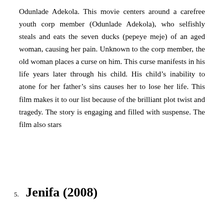Odunlade Adekola. This movie centers around a carefree youth corp member (Odunlade Adekola), who selfishly steals and eats the seven ducks (pepeye meje) of an aged woman, causing her pain. Unknown to the corp member, the old woman places a curse on him. This curse manifests in his life years later through his child. His child's inability to atone for her father's sins causes her to lose her life. This film makes it to our list because of the brilliant plot twist and tragedy. The story is engaging and filled with suspense. The film also stars
5. Jenifa (2008)